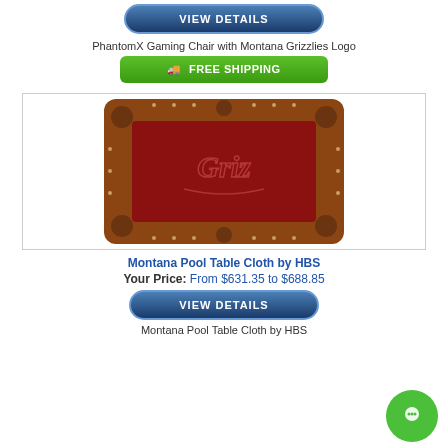[Figure (screenshot): Blue gradient 'VIEW DETAILS' button with rounded pill shape]
PhantomX Gaming Chair with Montana Grizzlies Logo
[Figure (screenshot): Green 'FREE SHIPPING' banner with truck icon]
[Figure (photo): Montana Pool Table Cloth by HBS product image showing a red billiard table with 'Griz' script logo, brown wooden frame with pocket corners]
Montana Pool Table Cloth by HBS
Your Price: From $631.35 to $688.85
[Figure (screenshot): Blue gradient 'VIEW DETAILS' button with rounded pill shape]
Montana Pool Table Cloth by HBS